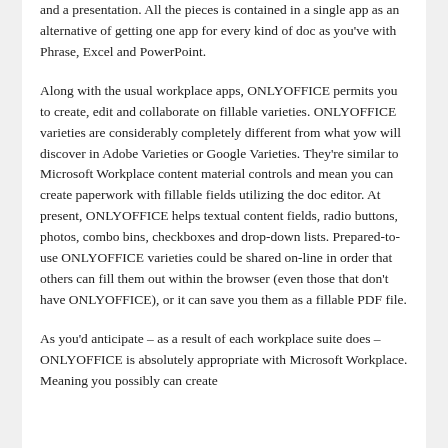and a presentation. All the pieces is contained in a single app as an alternative of getting one app for every kind of doc as you've with Phrase, Excel and PowerPoint.
Along with the usual workplace apps, ONLYOFFICE permits you to create, edit and collaborate on fillable varieties. ONLYOFFICE varieties are considerably completely different from what yow will discover in Adobe Varieties or Google Varieties. They're similar to Microsoft Workplace content material controls and mean you can create paperwork with fillable fields utilizing the doc editor. At present, ONLYOFFICE helps textual content fields, radio buttons, photos, combo bins, checkboxes and drop-down lists. Prepared-to-use ONLYOFFICE varieties could be shared on-line in order that others can fill them out within the browser (even those that don't have ONLYOFFICE), or it can save you them as a fillable PDF file.
As you'd anticipate – as a result of each workplace suite does – ONLYOFFICE is absolutely appropriate with Microsoft Workplace. Meaning you possibly can create